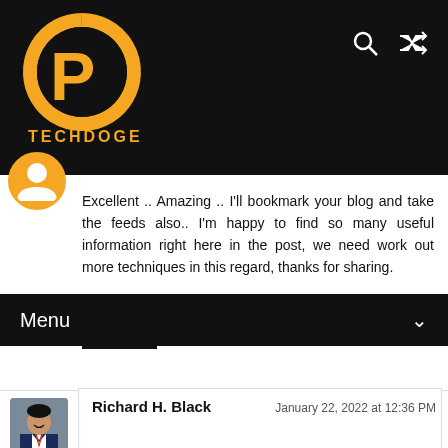[Figure (logo): TechDoge website logo — yellow D/P circular logo with text TECHDOGE below, on black header bar. Search and shuffle icons top right.]
Excellent .. Amazing .. I'll bookmark your blog and take the feeds also.. I'm happy to find so many useful information right here in the post, we need work out more techniques in this regard, thanks for sharing.
Reply
[Figure (photo): Avatar photo of Richard H. Black — smiling man in suit]
Richard H. Black     January 22, 2022 at 12:36 PM
Reply
[Figure (logo): Samuel Badree avatar — orange circle with blogger B icon]
Samuel Badree     February 2, 2022 at 2:19 PM
Thank you for sharing this. It was helpful. Keep